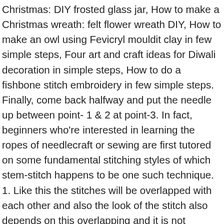Christmas: DIY frosted glass jar, How to make a Christmas wreath: felt flower wreath DIY, How to make an owl using Fevicryl mouldit clay in few simple steps, Four art and craft ideas for Diwali decoration in simple steps, How to do a fishbone stitch embroidery in few simple steps. Finally, come back halfway and put the needle up between point- 1 & 2 at point-3. In fact, beginners who're interested in learning the ropes of needlecraft or sewing are first tutored on some fundamental stitching styles of which stem-stitch happens to be one such technique. 1. Like this the stitches will be overlapped with each other and also the look of the stitch also depends on this overlapping and it is not necessary that point-3 will be just at the mid point of point- 1 & 2. So, In this write up I shall show you the step by step  method to make a stem stitch embroidery on a fabric. So I think it's good to be aware of the difference. Continue working in this manner until you reach the top of the leaf. This stem stitch looks sophisticated after being completed. Note that I'm left-handed (so the photos are of the